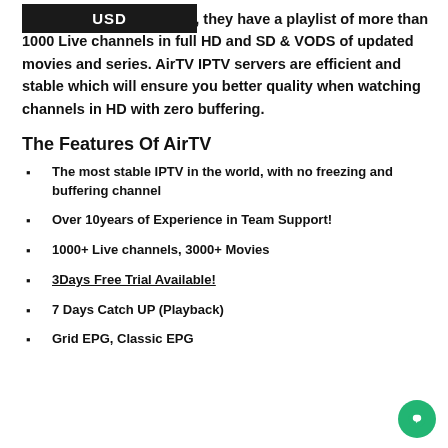w [USD] ence, they have a playlist of more than 1000 Live channels in full HD and SD & VODS of updated movies and series. AirTV IPTV servers are efficient and stable which will ensure you better quality when watching channels in HD with zero buffering.
The Features Of AirTV
The most stable IPTV in the world, with no freezing and buffering channel
Over 10years of Experience in Team Support!
1000+ Live channels, 3000+ Movies
3Days Free Trial Available!
7 Days Catch UP (Playback)
Grid EPG, Classic EPG